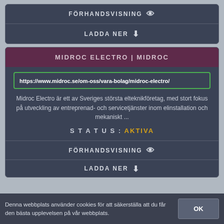FÖRHANDSVISNING 👁
LADDA NER ⬇
MIDROC ELECTRO | MIDROC
https://www.midroc.se/om-oss/vara-bolag/midroc-electro/
Midroc Electro är ett av Sveriges största elteknikföretag, med stort fokus på utveckling av entreprenad- och servicetjänster inom elinstallation och mekaniskt ...
STATUS: AKTIVA
FÖRHANDSVISNING 👁
LADDA NER ⬇
Denna webbplats använder cookies för att säkerställa att du får den bästa upplevelsen på vår webbplats.